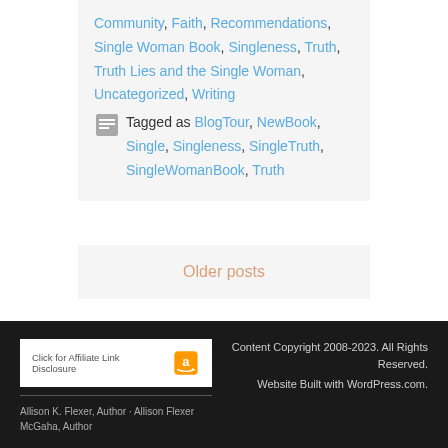Community, Faith, Recommendations, Single Woman Book, Singleness, Truth, Truth Lies and the Single Woman, Uncategorized, Writing Tagged as BlogTour, NewBook, Single, Singleness, SingleTruth, SingleWomanBook, Truth
Older posts
Click for Affiliate Link Disclosure [Amazon logo] | Allison K. Flexer, Author · Allison Flexer McGaha, Author | Content Copyright 2008-2023. All Rights Reserved. Website Built with WordPress.com.